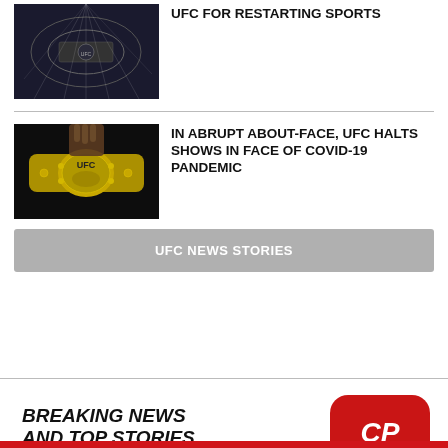[Figure (photo): UFC arena aerial/wide shot with spotlights]
UFC FOR RESTARTING SPORTS
[Figure (photo): UFC championship belt held up in dark setting]
IN ABRUPT ABOUT-FACE, UFC HALTS SHOWS IN FACE OF COVID-19 PANDEMIC
UFC NEWS STORIES
[Figure (logo): CP24 app advertisement banner with logo. Text: BREAKING NEWS AND TOP STORIES ON THE ALL-NEW CP24 APP]